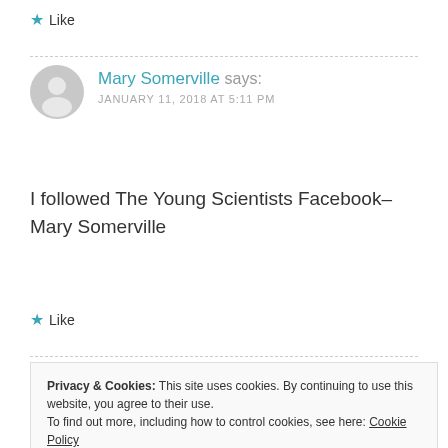★ Like
Mary Somerville says:
JANUARY 11, 2018 AT 5:11 PM
I followed The Young Scientists Facebook– Mary Somerville
★ Like
Privacy & Cookies: This site uses cookies. By continuing to use this website, you agree to their use.
To find out more, including how to control cookies, see here: Cookie Policy
Close and accept